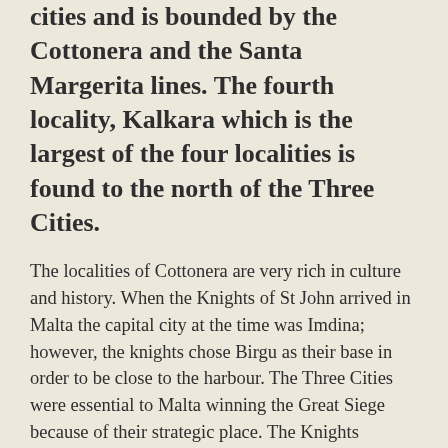cities and is bounded by the Cottonera and the Santa Margerita lines. The fourth locality, Kalkara which is the largest of the four localities is found to the north of the Three Cities.
The localities of Cottonera are very rich in culture and history. When the Knights of St John arrived in Malta the capital city at the time was Imdina; however, the knights chose Birgu as their base in order to be close to the harbour. The Three Cities were essential to Malta winning the Great Siege because of their strategic place. The Knights recognized Bormla, Birgu and Isla's crucial role in the defence of the Maltese islands and honoured them by giving them the titles of cities. Bormla was given the